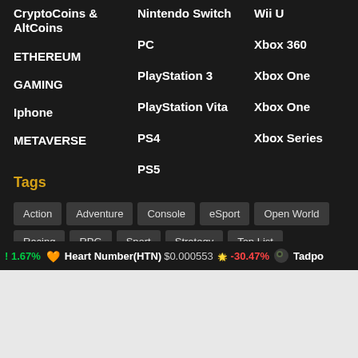CryptoCoins & AltCoins
ETHEREUM
GAMING
Iphone
METAVERSE
Nintendo Switch
PC
PlayStation 3
PlayStation Vita
PS4
PS5
Wii U
Xbox 360
Xbox One
Xbox One
Xbox Series
Tags
Action
Adventure
Console
eSport
Open World
Racing
RPG
Sport
Strategy
Top List
! 1.67%  Heart Number(HTN)  $0.000553  -30.47%  Tadpo